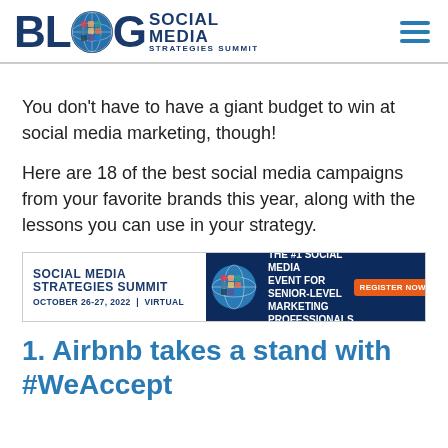[Figure (logo): BLOG Social Media Strategies Summit logo with globe icon]
You don’t have to have a giant budget to win at social media marketing, though!
Here are 18 of the best social media campaigns from your favorite brands this year, along with the lessons you can use in your strategy.
[Figure (infographic): Social Media Strategies Summit advertisement banner. October 26-27, 2022 | Virtual. THE #1 SOCIAL MEDIA EVENT FOR SENIOR-LEVEL MARKETING PROFESSIONALS. REGISTER NOW button.]
1. Airbnb takes a stand with #WeAccept